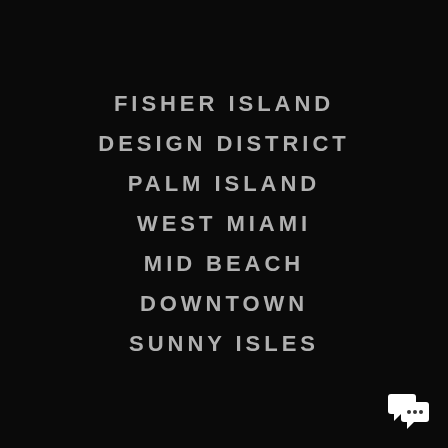FISHER ISLAND
DESIGN DISTRICT
PALM ISLAND
WEST MIAMI
MID BEACH
DOWNTOWN
SUNNY ISLES
[Figure (illustration): White chat bubble icon with ellipsis, bottom right corner]